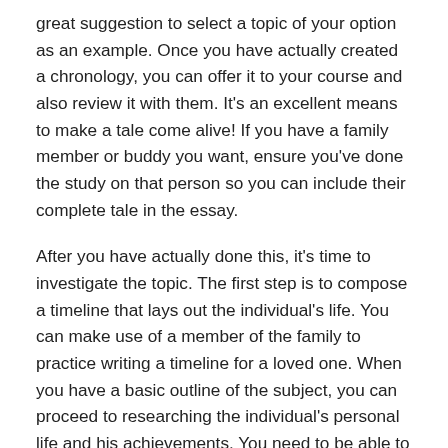great suggestion to select a topic of your option as an example. Once you have actually created a chronology, you can offer it to your course and also review it with them. It's an excellent means to make a tale come alive! If you have a family member or buddy you want, ensure you've done the study on that person so you can include their complete tale in the essay.
After you have actually done this, it's time to investigate the topic. The first step is to compose a timeline that lays out the individual's life. You can make use of a member of the family to practice writing a timeline for a loved one. When you have a basic outline of the subject, you can proceed to researching the individual's personal life and his achievements. You need to be able to extract the themes in the bio as you research the subject.